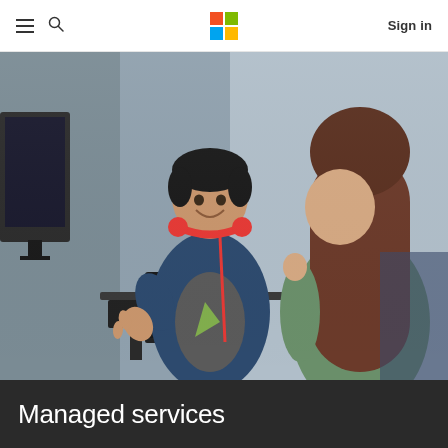Microsoft navigation bar with hamburger menu, search icon, Microsoft logo, and Sign in link
[Figure (photo): Two office workers having a conversation in a modern workspace. A man with red headphones around his neck wearing a blue jacket gestures while talking, standing near a desk with a laptop and keyboard. A woman with long brown hair wearing a green top listens attentively.]
Managed services